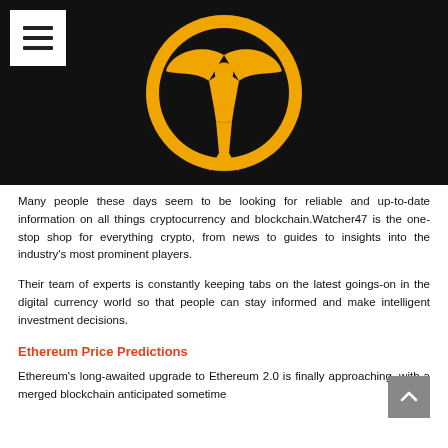[Figure (logo): Watcher47 logo: a stylized figure inside a golden circle on a black background]
Many people these days seem to be looking for reliable and up-to-date information on all things cryptocurrency and blockchain.Watcher47 is the one-stop shop for everything crypto, from news to guides to insights into the industry's most prominent players.
Their team of experts is constantly keeping tabs on the latest goings-on in the digital currency world so that people can stay informed and make intelligent investment decisions.
Ethereum Price Predictions
Ethereum's long-awaited upgrade to Ethereum 2.0 is finally approaching, with a merged blockchain anticipated sometime